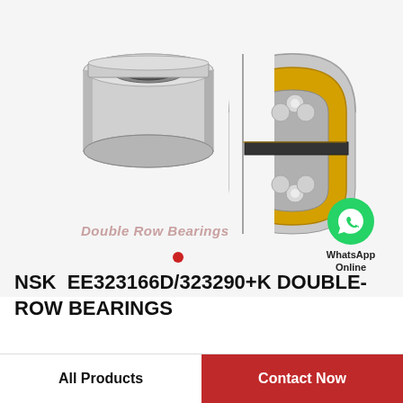[Figure (illustration): Two double-row bearings shown: one intact cylindrical bearing on the left, one cross-section cutaway on the right showing yellow cage, steel balls, and inner/outer races. WhatsApp green icon to the right. Text label 'Double Row Bearings' in italic pink below the bearings.]
Double Row Bearings
WhatsApp Online
NSK  EE323166D/323290+K DOUBLE-ROW BEARINGS
All Products
Contact Now